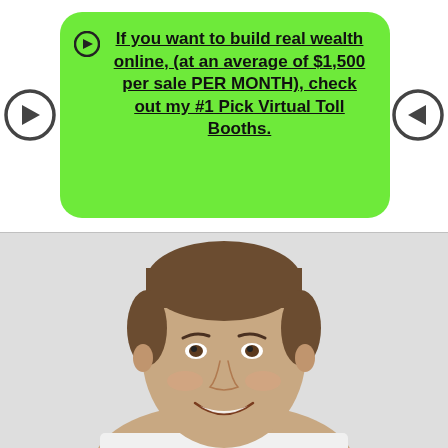[Figure (infographic): Green rounded rectangle callout box with two circular arrow icons (one pointing right on the left side, one pointing left on the right side) containing bold underlined text about building wealth online with Virtual Toll Booths]
If you want to build real wealth online, (at an average of $1,500 per sale PER MONTH), check out my #1 Pick Virtual Toll Booths.
[Figure (photo): Smiling young man with short brown hair, photographed from the shoulders up against a light gray background]